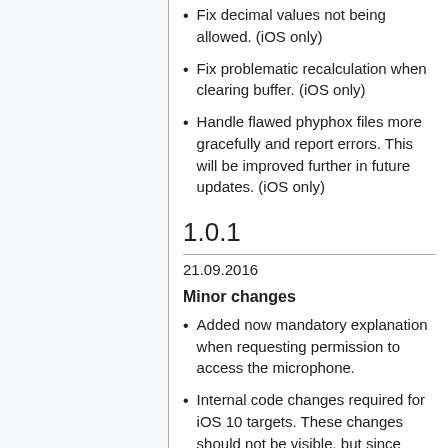Fix decimal values not being allowed. (iOS only)
Fix problematic recalculation when clearing buffer. (iOS only)
Handle flawed phyphox files more gracefully and report errors. This will be improved further in future updates. (iOS only)
1.0.1
21.09.2016
Minor changes
Added now mandatory explanation when requesting permission to access the microphone.
Internal code changes required for iOS 10 targets. These changes should not be visible, but since some